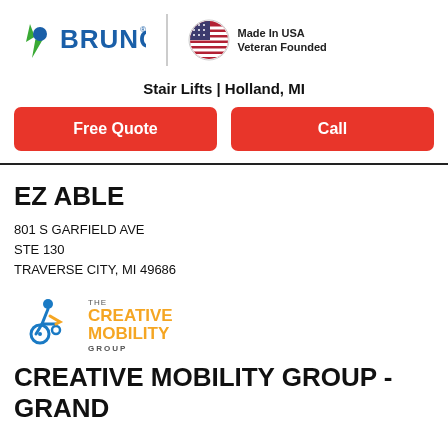[Figure (logo): Bruno logo with icon and wordmark, vertical divider, Made In USA Veteran Founded badge with US flag circle]
Stair Lifts | Holland, MI
Free Quote
Call
EZ ABLE
801 S GARFIELD AVE
STE 130
TRAVERSE CITY, MI 49686
[Figure (logo): The Creative Mobility Group logo with blue/orange wheelchair icon and orange text]
CREATIVE MOBILITY GROUP - GRAND